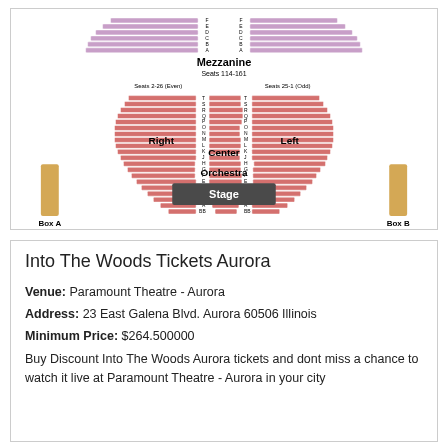[Figure (other): Theater seating chart showing Mezzanine (purple seats top), Orchestra with Right, Center, Left sections (pink/red seats), Box A and Box B on sides, and Stage at bottom.]
Into The Woods Tickets Aurora
Venue: Paramount Theatre - Aurora
Address: 23 East Galena Blvd. Aurora 60506 Illinois
Minimum Price: $264.500000
Buy Discount Into The Woods Aurora tickets and dont miss a chance to watch it live at Paramount Theatre - Aurora in your city